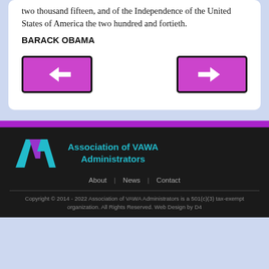two thousand fifteen, and of the Independence of the United States of America the two hundred and fortieth.
BARACK OBAMA
[Figure (other): Navigation buttons: left arrow (back) and right arrow (forward), both with magenta/purple background and black border]
[Figure (logo): Association of VAWA Administrators logo with teal AVA letters and teal/purple text on dark background]
About | News | Contact
Copyright © 2014 - 2022 Association of VAWA Administrators is a 501(c)(3) tax-exempt organization. All Rights Reserved. Web Design by D4